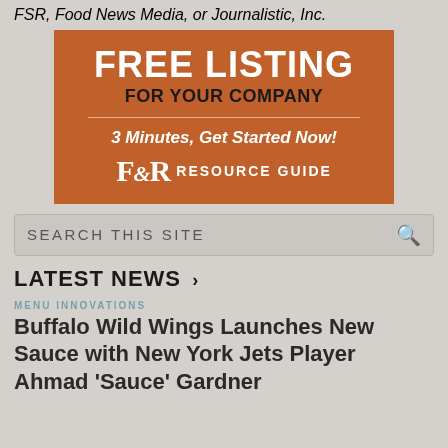FSR, Food News Media, or Journalistic, Inc.
[Figure (infographic): Orange advertisement block for FSR Resource Guide free company listing. Text: FREE LISTING FOR YOUR COMPANY / 3 Minutes, Get Started Now! / FSR RESOURCE GUIDE]
SEARCH THIS SITE
LATEST NEWS >
MENU INNOVATIONS
Buffalo Wild Wings Launches New Sauce with New York Jets Player Ahmad 'Sauce' Gardner